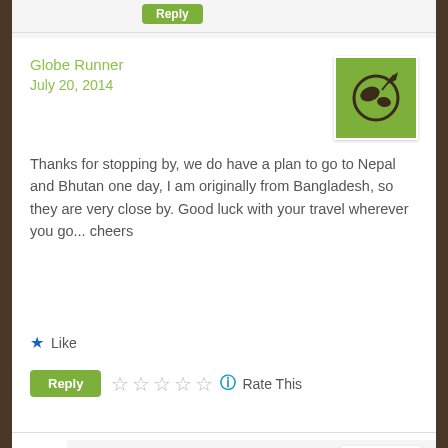Globe Runner
July 20, 2014
[Figure (illustration): Globe Runner avatar: green square with dark globe and airplane icon]
Thanks for stopping by, we do have a plan to go to Nepal and Bhutan one day, I am originally from Bangladesh, so they are very close by. Good luck with your travel wherever you go... cheers
Like
Reply
Rate This
rfljenksy
July 21, 2014
[Figure (photo): Profile photo of a person outdoors]
Thank you and Cheers Back!!